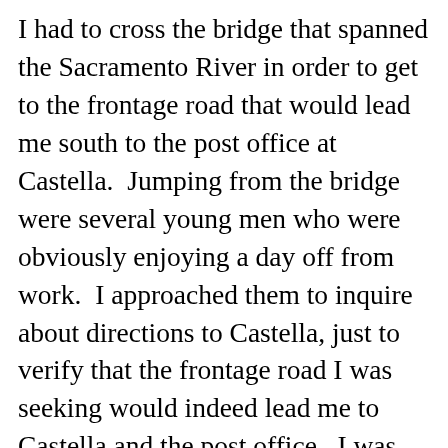I had to cross the bridge that spanned the Sacramento River in order to get to the frontage road that would lead me south to the post office at Castella.  Jumping from the bridge were several young men who were obviously enjoying a day off from work.  I approached them to inquire about directions to Castella, just to verify that the frontage road I was seeking would indeed lead me to Castella and the post office.  I was halfway across the bridge when a small vehicle approached from the other end.  I stepped aside to make room for it, but instead of passing by, it stopped beside me.